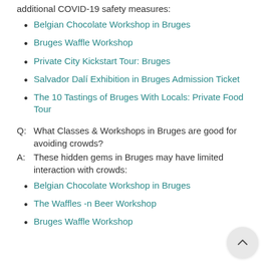additional COVID-19 safety measures:
Belgian Chocolate Workshop in Bruges
Bruges Waffle Workshop
Private City Kickstart Tour: Bruges
Salvador Dalí Exhibition in Bruges Admission Ticket
The 10 Tastings of Bruges With Locals: Private Food Tour
Q:  What Classes & Workshops in Bruges are good for avoiding crowds?
A:  These hidden gems in Bruges may have limited interaction with crowds:
Belgian Chocolate Workshop in Bruges
The Waffles -n Beer Workshop
Bruges Waffle Workshop